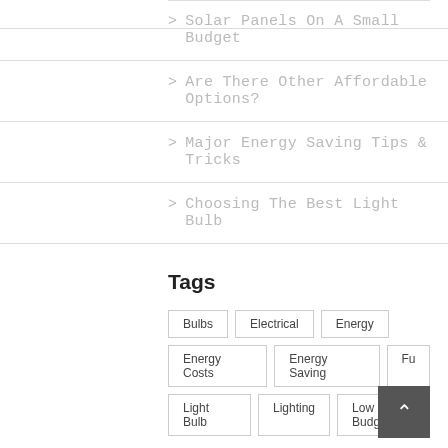> Solar Panels On A Small Budget
> Are There Other Affordable Options?
> Major Energy Saving Tips & Tricks
> Choosing The Best Light Bulb
Tags
Bulbs   Electrical   Energy   Energy Costs   Energy Saving   Fu...   Light Bulb   Lighting   Low Budget